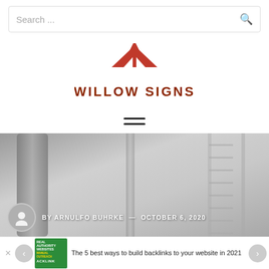Search ...
[Figure (logo): Willow Signs logo with red diamond/wing shape above the text WILLOW SIGNS in dark red/brown bold letters]
[Figure (other): Hamburger menu icon with three horizontal lines]
[Figure (photo): Hero image showing sign-making or warehouse setting with metal signs and ladders, grey tones. Overlaid with author info: BY ARNULFO BUHRKE — OCTOBER 6, 2020]
The 5 best ways to build backlinks to your website in 2021